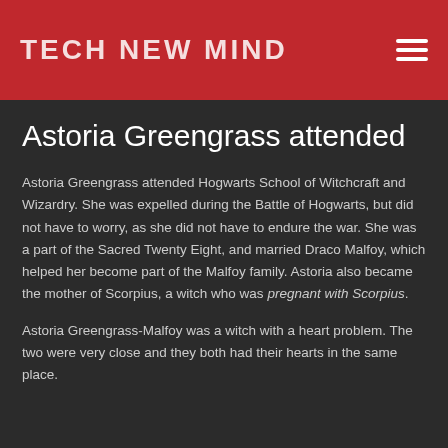TECH NEW MIND
Astoria Greengrass attended
Astoria Greengrass attended Hogwarts School of Witchcraft and Wizardry. She was expelled during the Battle of Hogwarts, but did not have to worry, as she did not have to endure the war. She was a part of the Sacred Twenty Eight, and married Draco Malfoy, which helped her become part of the Malfoy family. Astoria also became the mother of Scorpius, a witch who was pregnant with Scorpius.
Astoria Greengrass-Malfoy was a witch with a heart problem. The two were very close and they both had their hearts in the same place.